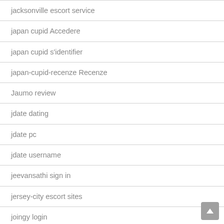jacksonville escort service
japan cupid Accedere
japan cupid s'identifier
japan-cupid-recenze Recenze
Jaumo review
jdate dating
jdate pc
jdate username
jeevansathi sign in
jersey-city escort sites
joingy login
Joingy review
joyclubpartnersuche.de Handy, Mobiltelefon